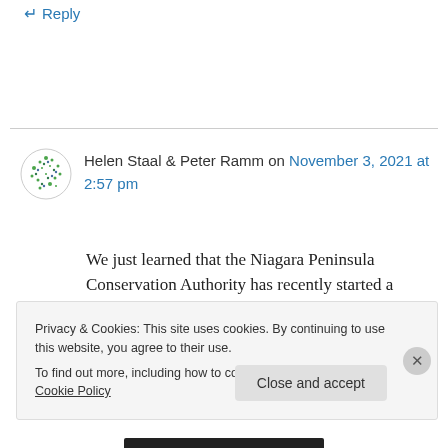↵ Reply
Helen Staal & Peter Ramm on November 3, 2021 at 2:57 pm
We just learned that the Niagara Peninsula Conservation Authority has recently started a review of the Canada Summer Games mountain
Privacy & Cookies: This site uses cookies. By continuing to use this website, you agree to their use.
To find out more, including how to control cookies, see here: Cookie Policy